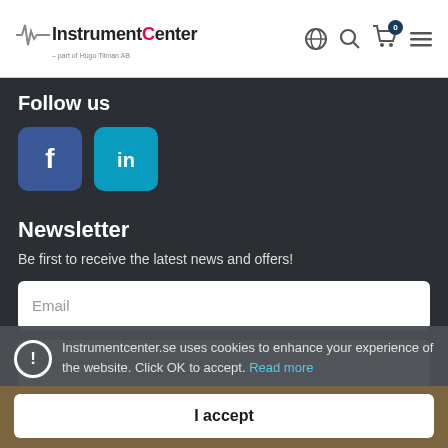InstrumentCenter - part of Hugo Tilman AB
Follow us
[Figure (logo): Facebook icon (blue square with white f)]
[Figure (logo): LinkedIn icon (teal square with white 'in')]
Newsletter
Be first to receive the latest news and offers!
Email
Firstname
Instrumentcenter.se uses cookies to enhance your experience of the website. Click OK to accept. Read more
I accept